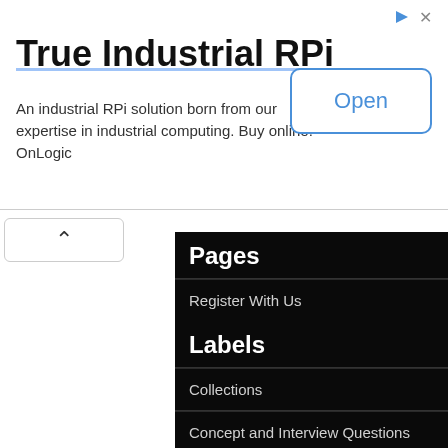[Figure (screenshot): Advertisement banner for True Industrial RPi by OnLogic with Open button]
True Industrial RPi
An industrial RPi solution born from our expertise in industrial computing. Buy online. OnLogic
Pages
Register With Us
Labels
Collections
Concept and Interview Questions
concept and program
Core java Interview Questions
Design Pattern
Find Output of Program
Java 8
Java EE